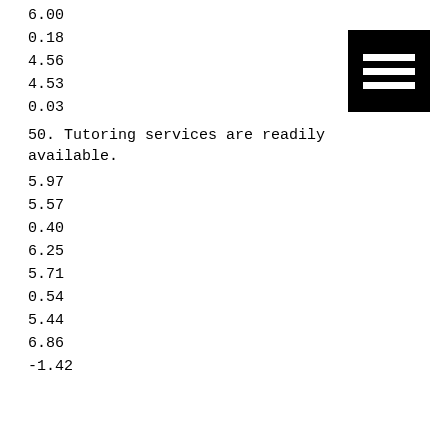6.00
0.18
4.56
4.53
0.03
50. Tutoring services are readily available.
5.97
5.57
0.40
6.25
5.71
0.54
5.44
6.86
-1.42
[Figure (other): Menu/hamburger icon: black square with three white horizontal bars]